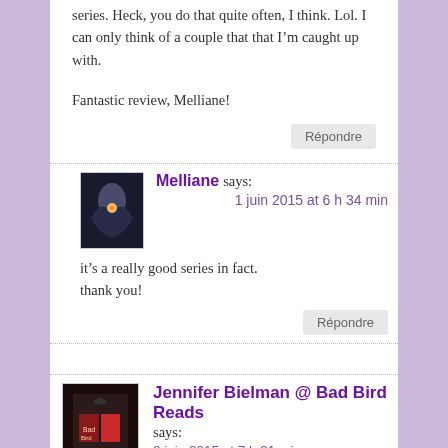series. Heck, you do that quite often, I think. Lol. I can only think of a couple that that I'm caught up with.
Fantastic review, Melliane!
Répondre
Melliane says:
1 juin 2015 at 6 h 34 min
it's a really good series in fact. thank you!
Répondre
Jennifer Bielman @ Bad Bird Reads says:
2 juin 2015 at 7 h 31 min